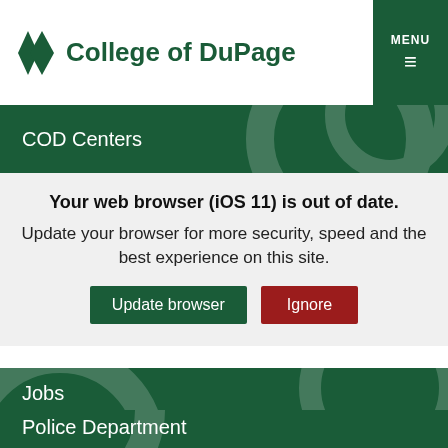College of DuPage
COD Centers
Your web browser (iOS 11) is out of date. Update your browser for more security, speed and the best experience on this site.
Update browser
Ignore
Jobs
Police Department
Contact COD